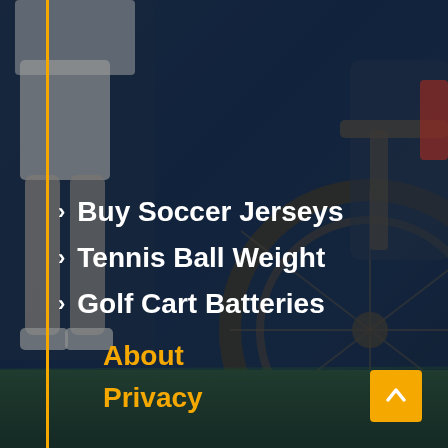[Figure (photo): Dark blue tinted background photo showing a person's legs standing on grass next to a mountain bicycle. A person is visible on the left side and a bicycle wheel is prominent on the right side. Green grass is visible at the bottom.]
› Buy Soccer Jerseys
› Tennis Ball Weight
› Golf Cart Batteries
About
Privacy